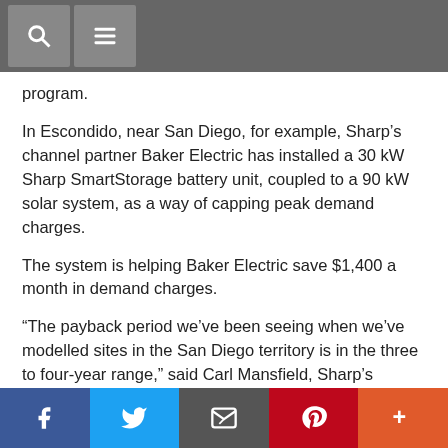[search icon] [menu icon]
program.
In Escondido, near San Diego, for example, Sharp’s channel partner Baker Electric has installed a 30 kW Sharp SmartStorage battery unit, coupled to a 90 kW solar system, as a way of capping peak demand charges.
The system is helping Baker Electric save $1,400 a month in demand charges.
“The payback period we’ve been seeing when we’ve modelled sites in the San Diego territory is in the three to four-year range,” said Carl Mansfield, Sharp’s Energy Systems and Services Group general manager and founder.
Baker Electric is on San Diego Gas & Electric’s AL-TOU tariff, which Mansfield says is one of the highest in the US. But C&I energy storage
Facebook Twitter Email Pinterest More